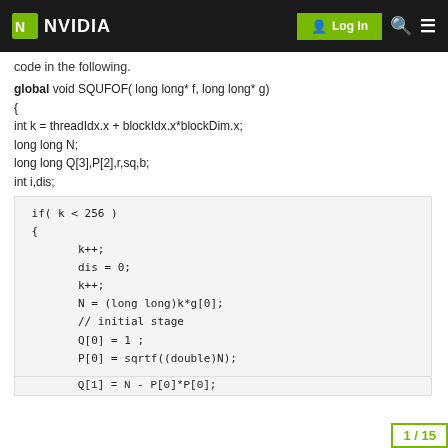NVIDIA - Log In
code in the following.
__global__ void SQUFOF( long long* f, long long* g)
{
int k = threadIdx.x + blockIdx.x*blockDim.x;
long long N;
long long Q[3],P[2],r,sq,b;
int i,dis;
[Figure (screenshot): Code block showing CUDA kernel with if(k < 256) condition and assignments: k++, dis=0, k++, N=(long long)k*g[0], // initial stage, Q[0]=1, P[0]=sqrtf((double)N), Q[1]=N-P[0]*P[0]]
1/15